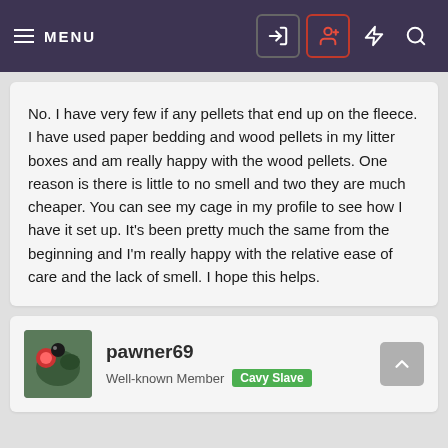MENU | Login | Register | Flash | Search
No. I have very few if any pellets that end up on the fleece. I have used paper bedding and wood pellets in my litter boxes and am really happy with the wood pellets. One reason is there is little to no smell and two they are much cheaper. You can see my cage in my profile to see how I have it set up. It’s been pretty much the same from the beginning and I’m really happy with the relative ease of care and the lack of smell. I hope this helps.
pawner69
Well-known Member Cavy Slave